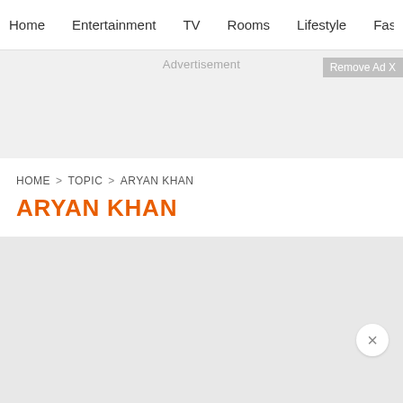Home  Entertainment  TV  Rooms  Lifestyle  Fashi
[Figure (screenshot): Advertisement banner area with 'Advertisement' label and 'Remove Ad X' button]
HOME > TOPIC > ARYAN KHAN
ARYAN KHAN
[Figure (other): Gray content area with a circular close (×) button in the lower right]